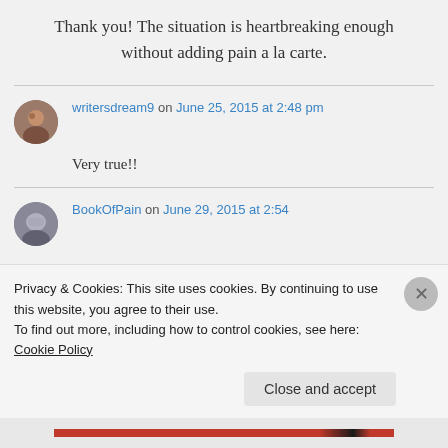Thank you! The situation is heartbreaking enough without adding pain a la carte.
writersdream9 on June 25, 2015 at 2:48 pm
Very true!!
BookOfPain on June 29, 2015 at 2:54
Privacy & Cookies: This site uses cookies. By continuing to use this website, you agree to their use.
To find out more, including how to control cookies, see here: Cookie Policy
Close and accept